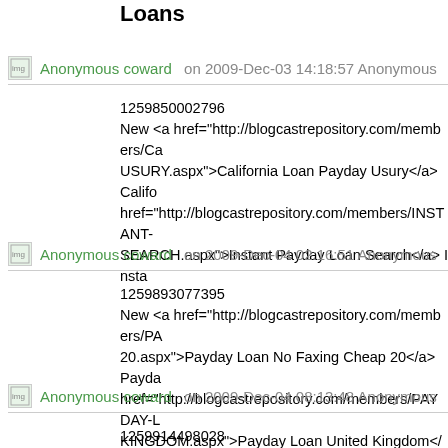Loans
Anonymous coward on 2009-Dec-03 14:18:57 Anonymous
1259850002796
New <a href="http://blogcastrepository.com/members/Ca... USURY.aspx">California Loan Payday Usury</a> Califo... href="http://blogcastrepository.com/members/INSTANT-... SEARCH.aspx">Instant Payday Loan Search</a> Insta...
Anonymous coward on 2009-Dec-04 02:16:51 Anonymous
1259893077395
New <a href="http://blogcastrepository.com/members/PA... 20.aspx">Payday Loan No Faxing Cheap 20</a> Payda... href="http://blogcastrepository.com/members/PAYDAY-L... KINGDOM.aspx">Payday Loan United Kingdom</a> Pa...
Anonymous coward on 2009-Dec-04 08:13:48 Anonymous
1259914498028